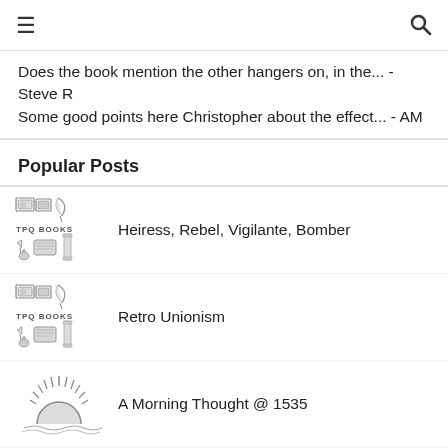☰   🔍
Does the book mention the other hangers on, in the... - Steve R
Some good points here Christopher about the effect... - AM
Popular Posts
Heiress, Rebel, Vigilante, Bomber
Retro Unionism
A Morning Thought @ 1535